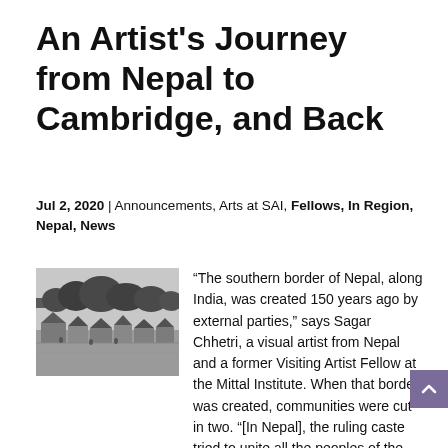An Artist's Journey from Nepal to Cambridge, and Back
Jul 2, 2020 | Announcements, Arts at SAI, Fellows, In Region, Nepal, News
[Figure (photo): Black and white photograph of a village scene with low-lying buildings and trees in the background.]
“The southern border of Nepal, along India, was created 150 years ago by external parties,” says Sagar Chhetri, a visual artist from Nepal and a former Visiting Artist Fellow at the Mittal Institute. When that border was created, communities were cut in two. “[In Nepal], the ruling caste tried to unite all the peoples of the country to create one single Nepali identity. But in the populous open border region,